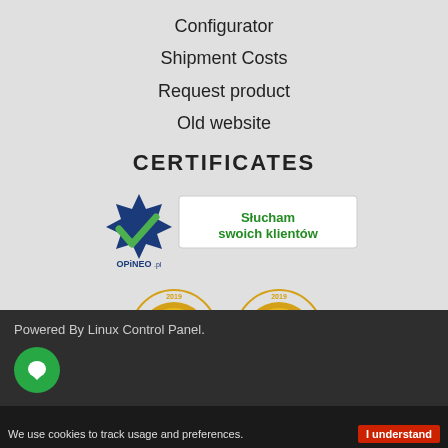Configurator
Shipment Costs
Request product
Old website
CERTIFICATES
[Figure (logo): OPiNEO certificate badge with checkmark and text 'Slucham swoich klientów', plus two gold OPINEO 2019 award medallions for TELEFONY and OBUTY categories]
Powered By Linux Control Panel.
We use cookies to track usage and preferences.
I understand